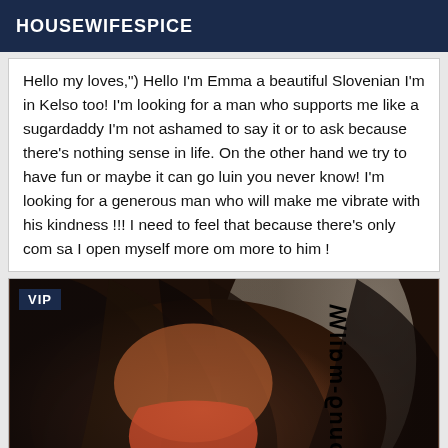HOUSEWIFESPICE
Hello my loves,") Hello I'm Emma a beautiful Slovenian I'm in Kelso too! I'm looking for a man who supports me like a sugardaddy I'm not ashamed to say it or to ask because there's nothing sense in life. On the other hand we try to have fun or maybe it can go luin you never know! I'm looking for a generous man who will make me vibrate with his kindness !!! I need to feel that because there's only com sa I open myself more om more to him !
[Figure (photo): Photo of a woman with long dark hair wearing a red top, with a VIP badge overlay and watermark text reading 'young-mails' rotated vertically on the right side]